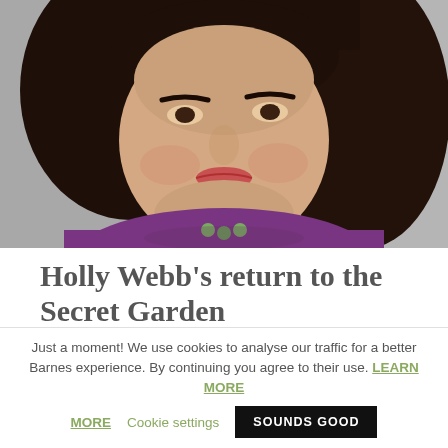[Figure (photo): Portrait photo of Holly Webb, a woman with dark shoulder-length hair, wearing a purple top and green necklace, against a gray background.]
Holly Webb's return to the Secret Garden
Just a moment! We use cookies to analyse our traffic for a better Barnes experience. By continuing you agree to their use. LEARN MORE   Cookie settings   SOUNDS GOOD